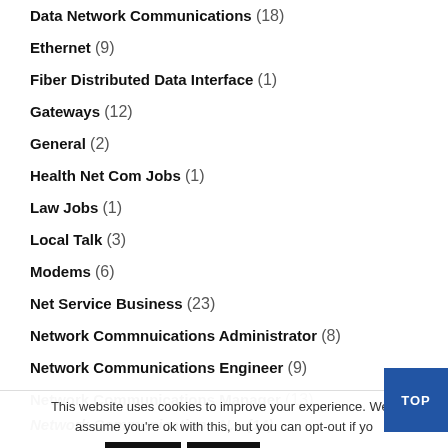Data Network Communications (18)
Ethernet (9)
Fiber Distributed Data Interface (1)
Gateways (12)
General (2)
Health Net Com Jobs (1)
Law Jobs (1)
Local Talk (3)
Modems (6)
Net Service Business (23)
Network Commnuications Administrator (8)
Network Communications Engineer (9)
Network Communications Manager (13)
Network Communications N... (14)
This website uses cookies to improve your experience. We'll assume you're ok with this, but you can opt-out if you... Accept Reject Read More